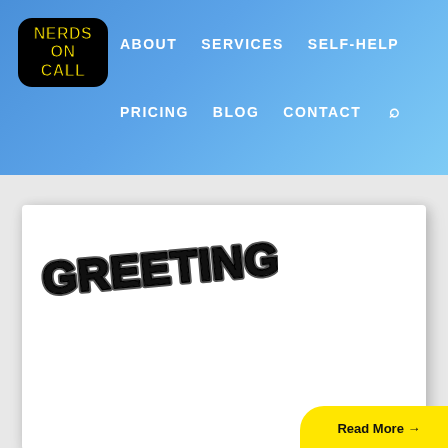NERDS ON CALL | ABOUT | SERVICES | SELF-HELP | PRICING | BLOG | CONTACT
[Figure (logo): Nerds On Call logo — yellow bold text on black rounded rectangle]
[Figure (illustration): White card/postcard with comic-book style 'GREETINGS FROM' text in bold black outlined letters, slightly rotated. Bottom right corner shows partial yellow rounded button.]